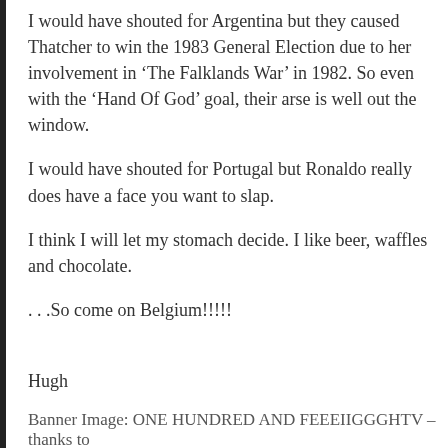I would have shouted for Argentina but they caused Thatcher to win the 1983 General Election due to her involvement in ‘The Falklands War’ in 1982. So even with the ‘Hand Of God’ goal, their arse is well out the window.
I would have shouted for Portugal but Ronaldo really does have a face you want to slap.
I think I will let my stomach decide. I like beer, waffles and chocolate.
. . .So come on Belgium!!!!!
Hugh
Banner Image: ONE HUNDRED AND FEEEIIGGGHTV – thanks to